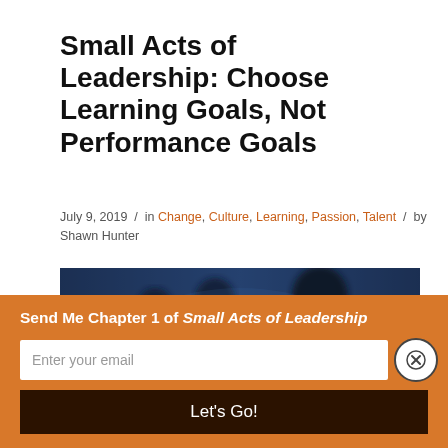Small Acts of Leadership: Choose Learning Goals, Not Performance Goals
July 9, 2019 / in Change, Culture, Learning, Passion, Talent / by Shawn Hunter
[Figure (photo): Dark blue-toned photo showing silhouettes of people, blurred background]
Send Me Chapter 1 of Small Acts of Leadership
Enter your email
Let's Go!